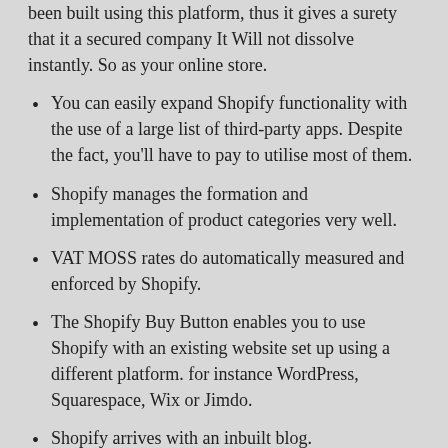been built using this platform, thus it gives a surety that it a secured company It Will not dissolve instantly. So as your online store.
You can easily expand Shopify functionality with the use of a large list of third-party apps. Despite the fact, you'll have to pay to utilise most of them.
Shopify manages the formation and implementation of product categories very well.
VAT MOSS rates do automatically measured and enforced by Shopify.
The Shopify Buy Button enables you to use Shopify with an existing website set up using a different platform. for instance WordPress, Squarespace, Wix or Jimdo.
Shopify arrives with an inbuilt blog.